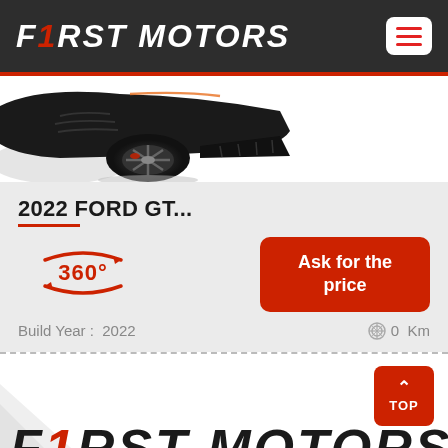F1RST MOTORS
[Figure (photo): Partial rear view of a dark sports car (Ford GT) showing rear wheel, diffuser, and exhaust area against a white background.]
2022 FORD GT...
[Figure (infographic): 360-degree view icon in red with circular arrows and '360°' text.]
Ask for the price
Build Year :  2022
0  Km
[Figure (logo): F1RST MOTORS logo at the bottom of the page, large italic bold text, partially visible, with red '1' character.]